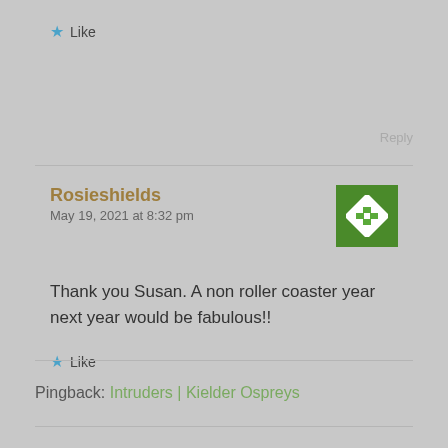★ Like
Reply
Rosieshields
May 19, 2021 at 8:32 pm
[Figure (illustration): Green and white pixel/mosaic style avatar image]
Thank you Susan. A non roller coaster year next year would be fabulous!!
★ Like
Pingback: Intruders | Kielder Ospreys